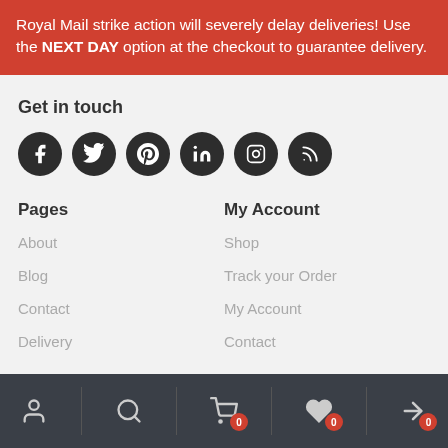Royal Mail strike action will severely delay deliveries! Use the NEXT DAY option at the checkout to guarantee delivery.
Get in touch
[Figure (other): Row of 6 social media icons (Facebook, Twitter, Pinterest, LinkedIn, Instagram, RSS) as white icons on dark circular backgrounds]
Pages
My Account
About
Shop
Blog
Track your Order
Contact
My Account
Delivery
Contact
Bottom navigation bar with icons: user, search, cart (0), wishlist (0), compare (0)